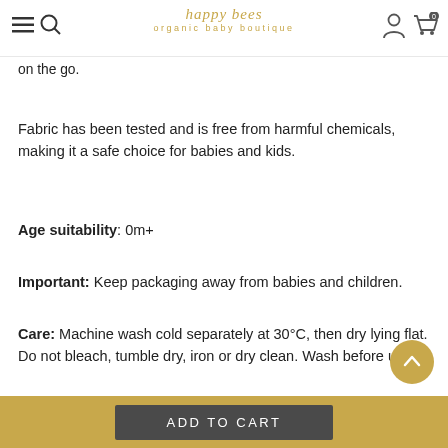happy bees organic baby boutique
them cozy during naps. In addition to swaddling, our multi-use muslin wraps can be used as a light blanket, burp cloth, breastfeeding cover or for shade protection – at home, in the car or on the go.
Fabric has been tested and is free from harmful chemicals, making it a safe choice for babies and kids.
Age suitability: 0m+
Important: Keep packaging away from babies and children.
Care: Machine wash cold separately at 30°C, then dry lying flat. Do not bleach, tumble dry, iron or dry clean. Wash before use."
Delivery, Shipping & Returns